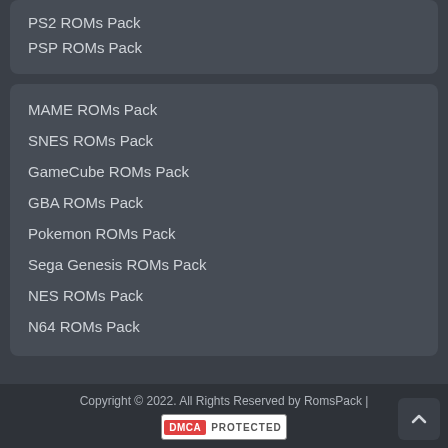PS2 ROMs Pack
PSP ROMs Pack
MAME ROMs Pack
SNES ROMs Pack
GameCube ROMs Pack
GBA ROMs Pack
Pokemon ROMs Pack
Sega Genesis ROMs Pack
NES ROMs Pack
N64 ROMs Pack
Copyright © 2022. All Rights Reserved by RomsPack |